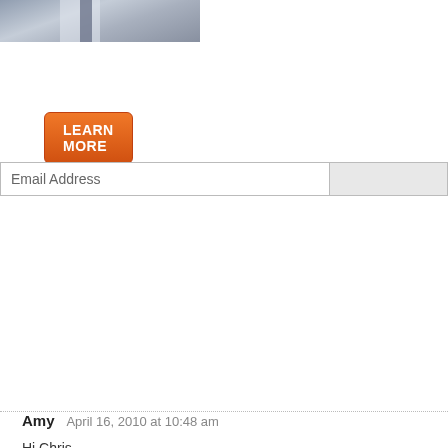[Figure (photo): Partial photo of a person in a suit/tie, cropped at top]
LEARN MORE
Email Address
{ 134 comments… read them below or add one }
Amy   April 16, 2010 at 10:48 am
Hi Chris ,
I commented in your previous article but wanted to fallow up here as well. I h about six months and I am feeling 90 percent better. I still have what I would to belch but don't and then I have a warm to hot sensation in my chest and th have left along with asthma at night. I was on prilosec for seven years and I a is for most people? I have taken probiotics and glutamine to heal my stomac because I was worried it was something I would have to take forever. Is UC